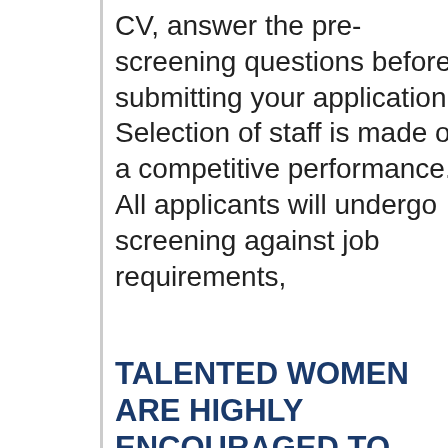CV, answer the pre-screening questions before submitting your application. Selection of staff is made on a competitive performance. All applicants will undergo screening against job requirements,
TALENTED WOMEN ARE HIGHLY ENCOURAGED TO APPLY
We look for applicants with the highest calibre who share our humanitarian values. We promote gender parity, and equality between men and women. WFP strives to build a work environment that is free of sexual harassment and abuse of authority communication, and every individual